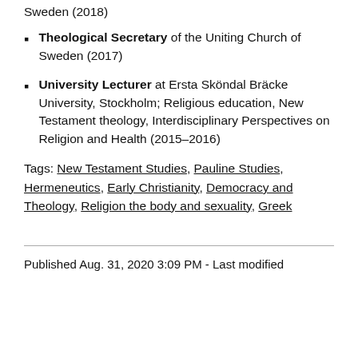Sweden (2018)
Theological Secretary of the Uniting Church of Sweden (2017)
University Lecturer at Ersta Sköndal Bräcke University, Stockholm; Religious education, New Testament theology, Interdisciplinary Perspectives on Religion and Health (2015–2016)
Tags: New Testament Studies, Pauline Studies, Hermeneutics, Early Christianity, Democracy and Theology, Religion the body and sexuality, Greek
Published Aug. 31, 2020 3:09 PM - Last modified